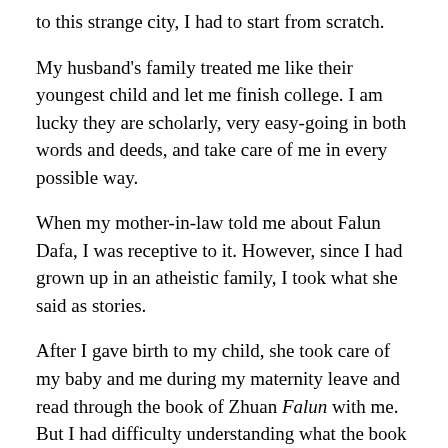to this strange city, I had to start from scratch.
My husband's family treated me like their youngest child and let me finish college. I am lucky they are scholarly, very easy-going in both words and deeds, and take care of me in every possible way.
When my mother-in-law told me about Falun Dafa, I was receptive to it. However, since I had grown up in an atheistic family, I took what she said as stories.
After I gave birth to my child, she took care of my baby and me during my maternity leave and read through the book of Zhuan Falun with me. But I had difficulty understanding what the book was talking about.
When my child was three years old, my mother-in-law